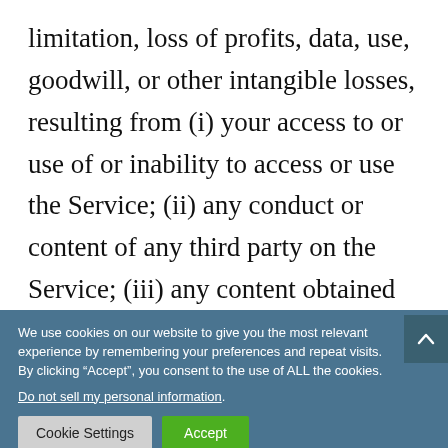limitation, loss of profits, data, use, goodwill, or other intangible losses, resulting from (i) your access to or use of or inability to access or use the Service; (ii) any conduct or content of any third party on the Service; (iii) any content obtained from the Service; and (iv) unauthorized access, use or alteration of your transmissions or content, whether
We use cookies on our website to give you the most relevant experience by remembering your preferences and repeat visits. By clicking “Accept”, you consent to the use of ALL the cookies. Do not sell my personal information.